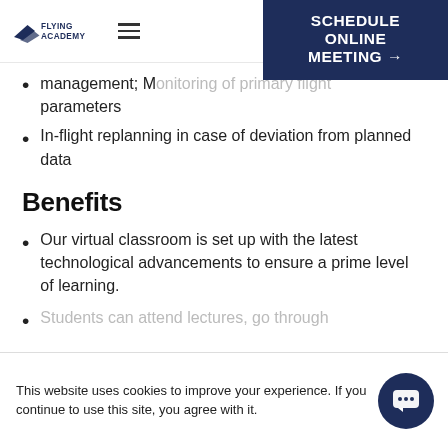Flying Academy — navigation header with schedule online meeting button
management; Monitoring of primary flight parameters
In-flight replanning in case of deviation from planned data
Benefits
Our virtual classroom is set up with the latest technological advancements to ensure a prime level of learning.
Students can attend lectures, go through
This website uses cookies to improve your experience. If you continue to use this site, you agree with it.